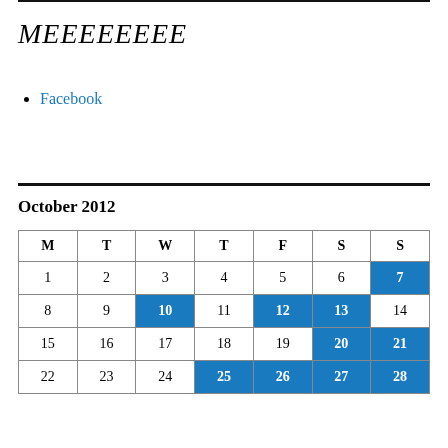MEEEEEEEE
Facebook
October 2012
| M | T | W | T | F | S | S |
| --- | --- | --- | --- | --- | --- | --- |
| 1 | 2 | 3 | 4 | 5 | 6 | 7 |
| 8 | 9 | 10 | 11 | 12 | 13 | 14 |
| 15 | 16 | 17 | 18 | 19 | 20 | 21 |
| 22 | 23 | 24 | 25 | 26 | 27 | 28 |